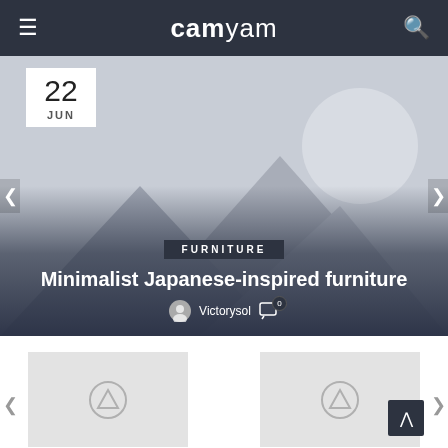camyam
[Figure (screenshot): Hero image placeholder with mountain/landscape silhouette and circle (sun/moon), dark gradient overlay at bottom with FURNITURE tag, article title, and author info. Date badge showing 22 JUN in top left corner.]
Minimalist Japanese-inspired furniture
Victorysol  0
[Figure (photo): Thumbnail image placeholder left]
[Figure (photo): Thumbnail image placeholder right]